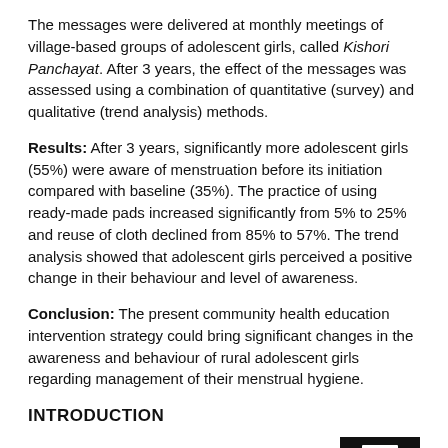The messages were delivered at monthly meetings of village-based groups of adolescent girls, called Kishori Panchayat. After 3 years, the effect of the messages was assessed using a combination of quantitative (survey) and qualitative (trend analysis) methods.
Results: After 3 years, significantly more adolescent girls (55%) were aware of menstruation before its initiation compared with baseline (35%). The practice of using ready-made pads increased significantly from 5% to 25% and reuse of cloth declined from 85% to 57%. The trend analysis showed that adolescent girls perceived a positive change in their behaviour and level of awareness.
Conclusion: The present community health education intervention strategy could bring significant changes in the awareness and behaviour of rural adolescent girls regarding management of their menstrual hygiene.
INTRODUCTION
Menstruation is a physiological phenomeno...
[Figure (other): Black box with a printer/document icon visible at bottom right of page]